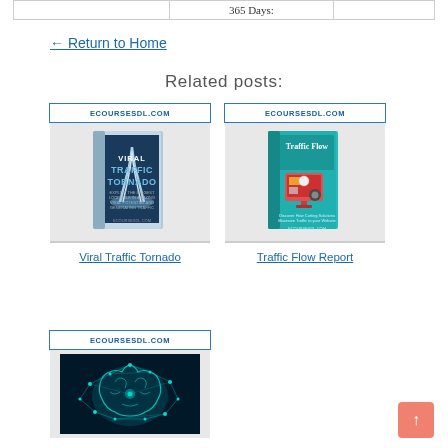|  | 365 Days: |  |
| --- | --- | --- |
|  | 365 Days: |  |
← Return to Home
Related posts:
[Figure (illustration): Viral Traffic Tornado book cover with ecoursesdl.com watermark]
Viral Traffic Tornado
[Figure (illustration): Traffic Flow Report book cover with ecoursesdl.com watermark]
Traffic Flow Report
[Figure (illustration): Neural brain network image with ecoursesdl.com watermark]